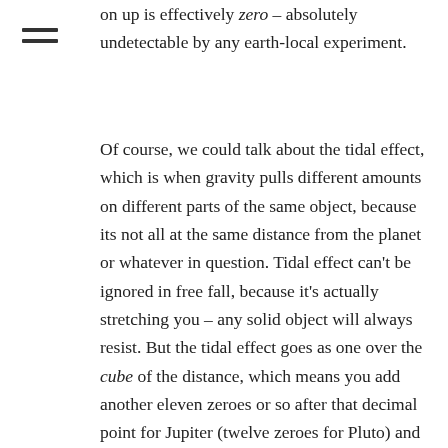on up is effectively zero – absolutely undetectable by any earth-local experiment.
Of course, we could talk about the tidal effect, which is when gravity pulls different amounts on different parts of the same object, because its not all at the same distance from the planet or whatever in question. Tidal effect can't be ignored in free fall, because it's actually stretching you – any solid object will always resist. But the tidal effect goes as one over the cube of the distance, which means you add another eleven zeroes or so after that decimal point for Jupiter (twelve zeroes for Pluto) and the ghost of Isaac Newton starts laughing his ethereal ass off – the baby's grandma three